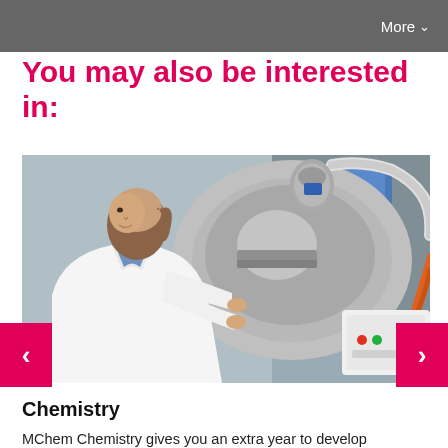More
You may also be interested in:
[Figure (photo): A female student in a white lab coat working with a complex piece of laboratory equipment — a large metallic scientific instrument with tubes and hoses attached, in a chemistry or physics lab setting.]
Chemistry
MChem Chemistry gives you an extra year to develop and expand your chemistry knowledge up to Masters